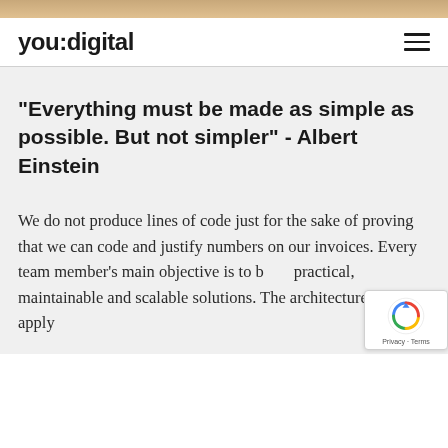[Figure (photo): Decorative image strip at top of page]
you:digital
"Everything must be made as simple as possible. But not simpler" - Albert Einstein
We do not produce lines of code just for the sake of proving that we can code and justify numbers on our invoices. Every team member's main objective is to build practical, maintainable and scalable solutions. The architecture we apply